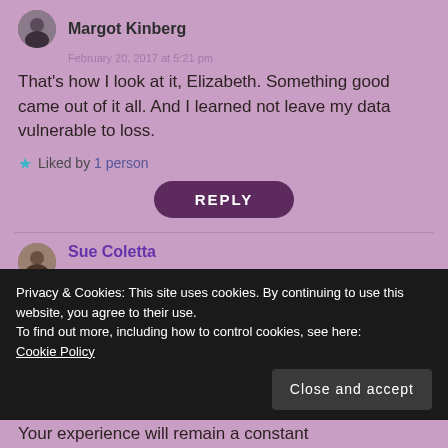Margot Kinberg
February 20, 2017 at 5:21 pm
That's how I look at it, Elizabeth. Something good came out of it all. And I learned not leave my data vulnerable to loss.
Liked by 1 person
REPLY
Sue Coletta
Privacy & Cookies: This site uses cookies. By continuing to use this website, you agree to their use.
To find out more, including how to control cookies, see here: Cookie Policy
Close and accept
Your experience will remain a constant